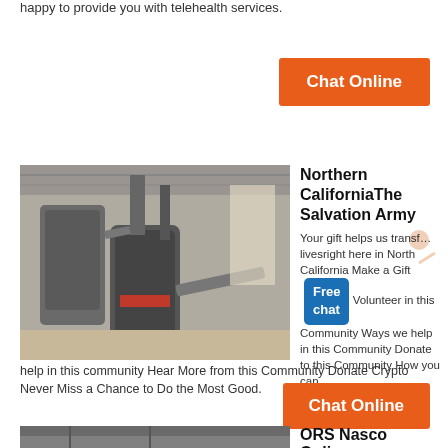happy to provide you with telehealth services.
Chat Online
[Figure (photo): Industrial machinery inside a large warehouse or factory — large cylindrical grinding/milling equipment with pipes and conveyor belts]
Northern CaliforniaThe Salvation Army
Your gift helps us transform livesright here in Northern California Make a Gift Volunteer in this Community Ways we help in this Community Donate to this Community How you can help in this community Hear More from this Community Donate Crypto Never Miss a Chance to Do the Most Good.
Chat Online
[Figure (photo): Industrial facility interior with large metal structures and ductwork]
ORS Nasco Online
Shop Now Sani Cide EX3 Disinfectant and Multi